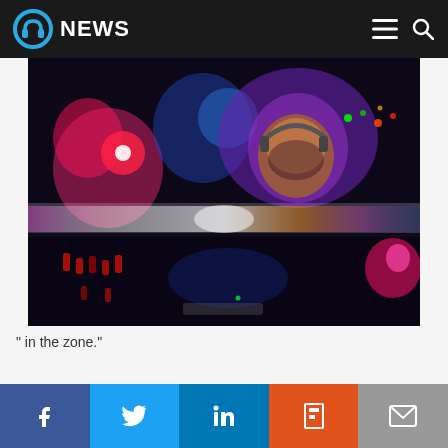NEWS
[Figure (photo): A person wearing headphones seen from behind a DJ booth or control panel, lit by colorful bokeh lights in pink, blue, orange and red tones against a dark background.]
" in the zone."
0 Comments
[Figure (infographic): Social sharing bar with Facebook, Twitter, LinkedIn, Flipboard, and Email buttons.]